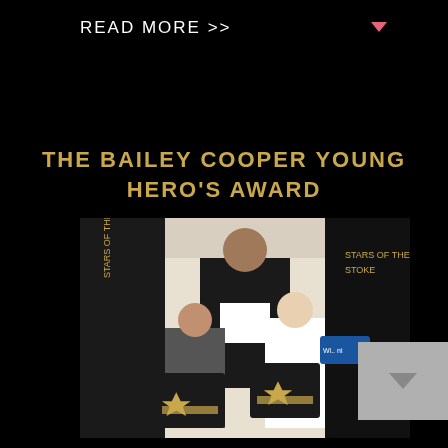READ MORE >>
THE BAILEY COOPER YOUNG HERO'S AWARD
[Figure (photo): Three people at an awards ceremony: an adult man in a dark suit standing behind two young boys in formal wear, each holding framed award plaques with gold stars. A 'Stars of the Stoke' banner is visible in the background.]